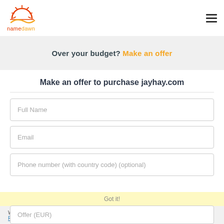[Figure (logo): Namedawn logo with sun/horizon graphic and colored text]
Over your budget? Make an offer
Make an offer to purchase jayhay.com
Full Name
Email
Phone number (with country code) (optional)
We use cookies to ensure you get the best experience on our website. Checkout our Privacy Policy
Got it!
Offer (EUR)